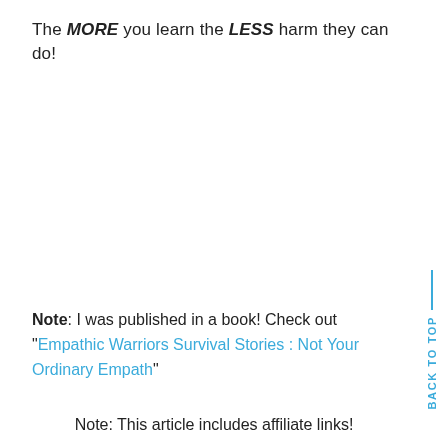The MORE you learn the LESS harm they can do!
Note: I was published in a book! Check out “Empathic Warriors Survival Stories : Not Your Ordinary Empath”
Note: This article includes affiliate links!